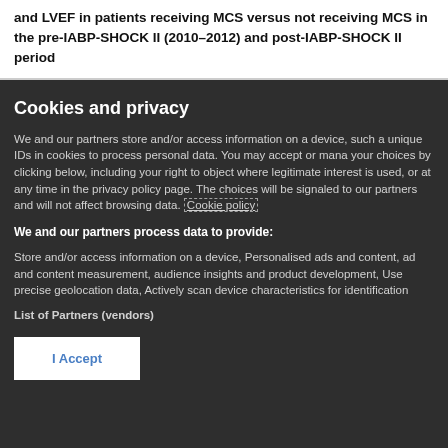and LVEF in patients receiving MCS versus not receiving MCS in the pre-IABP-SHOCK II (2010–2012) and post-IABP-SHOCK II period
Cookies and privacy
We and our partners store and/or access information on a device, such a unique IDs in cookies to process personal data. You may accept or mana your choices by clicking below, including your right to object where legitimate interest is used, or at any time in the privacy policy page. The choices will be signaled to our partners and will not affect browsing data. Cookie policy
We and our partners process data to provide:
Store and/or access information on a device, Personalised ads and content, ad and content measurement, audience insights and product development, Use precise geolocation data, Actively scan device characteristics for identification
List of Partners (vendors)
I Accept